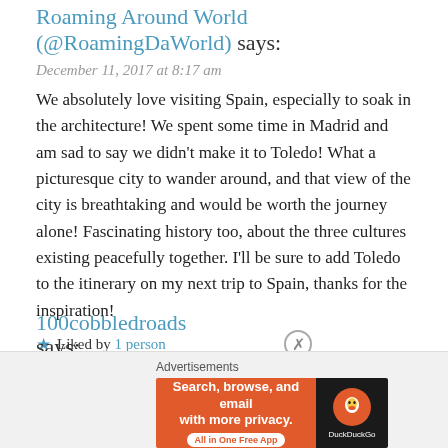Roaming Around World (@RoamingDaWorld) says:
December 11, 2017 at 8:17 am
We absolutely love visiting Spain, especially to soak in the architecture! We spent some time in Madrid and am sad to say we didn't make it to Toledo! What a picturesque city to wander around, and that view of the city is breathtaking and would be worth the journey alone! Fascinating history too, about the three cultures existing peacefully together. I'll be sure to add Toledo to the itinerary on my next trip to Spain, thanks for the inspiration!
★ Liked by 1 person
REPLY
100cobbledroads says:
[Figure (screenshot): DuckDuckGo advertisement banner: orange left panel with text 'Search, browse, and email with more privacy. All in One Free App' and dark right panel with DuckDuckGo logo]